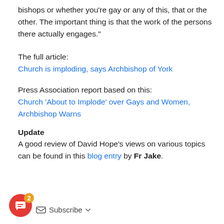bishops or whether you're gay or any of this, that or the other. The important thing is that the work of the persons there actually engages."
The full article:
Church is imploding, says Archbishop of York
Press Association report based on this:
Church 'About to Implode' over Gays and Women, Archbishop Warns
Update
A good review of David Hope's views on various topics can be found in this blog entry by Fr Jake.
[Figure (other): Red circular chat bubble icon with a badge showing 2, and a Subscribe button with envelope icon and dropdown arrow]